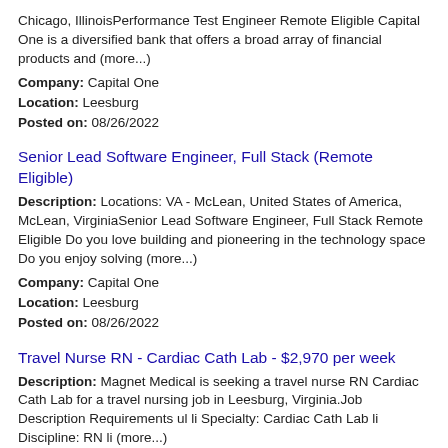Chicago, IllinoisPerformance Test Engineer Remote Eligible Capital One is a diversified bank that offers a broad array of financial products and (more...)
Company: Capital One
Location: Leesburg
Posted on: 08/26/2022
Senior Lead Software Engineer, Full Stack (Remote Eligible)
Description: Locations: VA - McLean, United States of America, McLean, VirginiaSenior Lead Software Engineer, Full Stack Remote Eligible Do you love building and pioneering in the technology space Do you enjoy solving (more...)
Company: Capital One
Location: Leesburg
Posted on: 08/26/2022
Travel Nurse RN - Cardiac Cath Lab - $2,970 per week
Description: Magnet Medical is seeking a travel nurse RN Cardiac Cath Lab for a travel nursing job in Leesburg, Virginia.Job Description Requirements ul li Specialty: Cardiac Cath Lab li Discipline: RN li (more...)
Company: Magnet Medical
Location: Leesburg